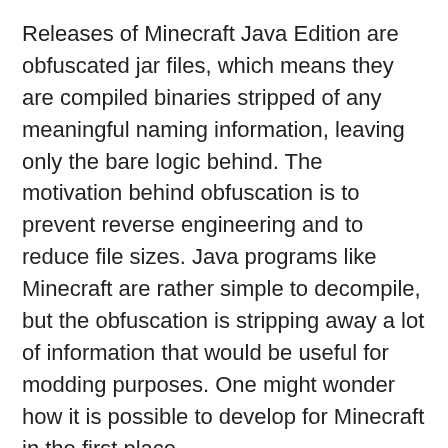Releases of Minecraft Java Edition are obfuscated jar files, which means they are compiled binaries stripped of any meaningful naming information, leaving only the bare logic behind. The motivation behind obfuscation is to prevent reverse engineering and to reduce file sizes. Java programs like Minecraft are rather simple to decompile, but the obfuscation is stripping away a lot of information that would be useful for modding purposes. One might wonder how it is possible to develop for Minecraft in the first place.
Mappings like Yarn provide meaningful names for development. Using mappings it is possible to make sense of the Minecraft code and create mods for it. Mapping can provide names for classes, fields, methods, parameters, and local variables. It should be obvious these mappings are not perfect. Mapping the entirety of Minecraft involves a lot guesswork from multiple contributors. Mappings may be incomplete and sometimes change as more accurate names are found.